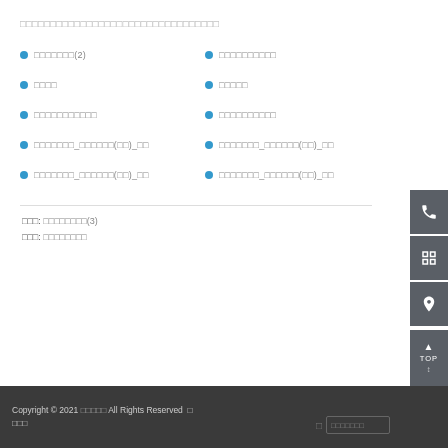□□□□□□□□□□□□□□□□□□□□□□□□□□□□□□□□□
□□□□□□□(2)
□□□□□□□□□□
□□□□
□□□□□
□□□□□□□□□□□
□□□□□□□□□□
□□□□□□□_□□□□□□(□□)_□□
□□□□□□□_□□□□□□(□□)_□□
□□□□□□□_□□□□□□(□□)_□□
□□□□□□□_□□□□□□(□□)_□□
□□□: □□□□□□□□(3)
□□□: □□□□□□□□
Copyright © 2021 □□□□□ All Rights Reserved □ □□□□□□□ □□□